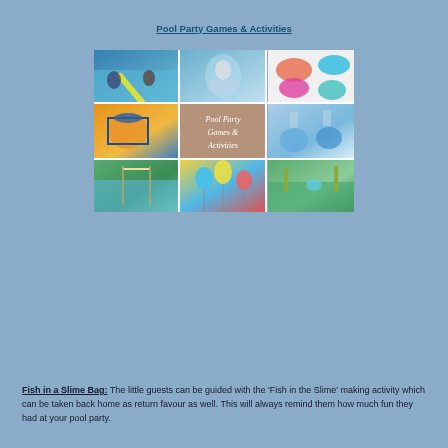Pool Party Games & Activities
[Figure (photo): A collage of 9 images showing pool party games and activities including children playing in a pool with noodles, a child swimming underwater, colorful flip flops, a floating basketball hoop game, a title card reading 'Pool Party Games & Activities', blue slime bags, pool volleyball net, balloon decorations, and backyard water games.]
Fish in a Slime Bag: The little guests can be guided with the 'Fish in the Slime' making activity which can be taken back home as return favour as well. This will always remind them how much fun they had at your pool party.